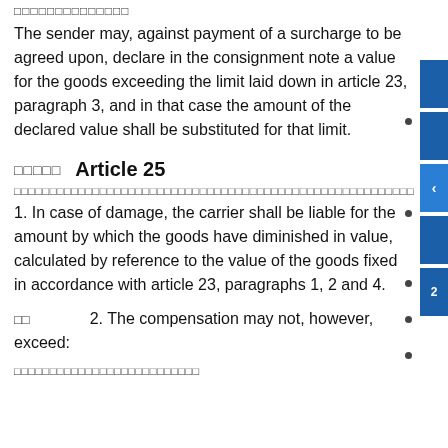□□□□□□□□□□□□□□
The sender may, against payment of a surcharge to be agreed upon, declare in the consignment note a value for the goods exceeding the limit laid down in article 23, paragraph 3, and in that case the amount of the declared value shall be substituted for that limit.
□□□□□   Article 25
□□□□□□□□□□□□□□□□□□□□□□□□□□□□□□□□□□□□□□□□□□□□□□□□□□□□□□□□
1. In case of damage, the carrier shall be liable for the amount by which the goods have diminished in value, calculated by reference to the value of the goods fixed in accordance with article 23, paragraphs 1, 2 and 4.
□□                2. The compensation may not, however, exceed:
□□□□□□□□□□□□□□□□□□□□□□□□□□